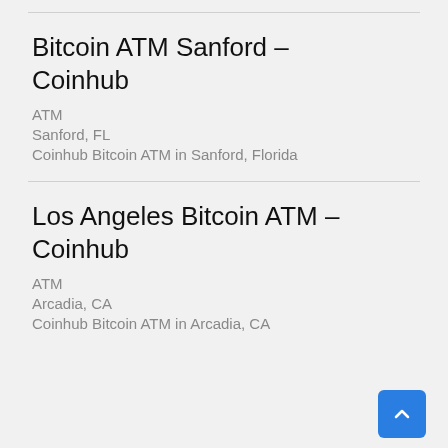Bitcoin ATM Sanford – Coinhub
ATM
Sanford, FL
Coinhub Bitcoin ATM in Sanford, Florida
Los Angeles Bitcoin ATM – Coinhub
ATM
Arcadia, CA
Coinhub Bitcoin ATM in Arcadia, CA